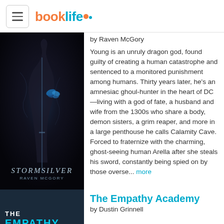booklife
[Figure (photo): Book cover for Stormsilver by Raven McGory — dark background with a figure holding a sword and a blue butterfly, title in stylized text at bottom]
by Raven McGory
Young is an unruly dragon god, found guilty of creating a human catastrophe and sentenced to a monitored punishment among humans. Thirty years later, he's an amnesiac ghoul-hunter in the heart of DC—living with a god of fate, a husband and wife from the 1300s who share a body, demon sisters, a grim reaper, and more in a large penthouse he calls Calamity Cave. Forced to fraternize with the charming, ghost-seeing human Arella after she steals his sword, constantly being spied on by those overse... more
The Empathy Academy
by Dustin Grinnell
[Figure (photo): Book cover for The Empathy Academy — dark blue background with THE EMPATHY text visible]